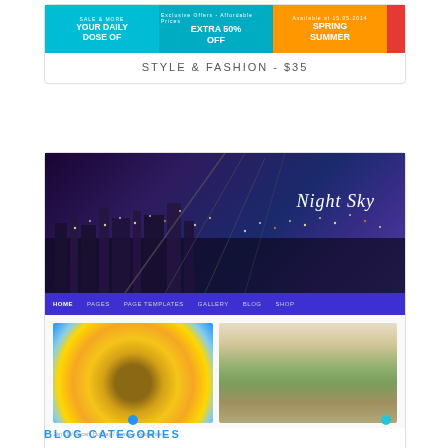[Figure (screenshot): Style & Fashion website theme banner with blue, cyan, orange, and red sections showing promotional text: YOUR DAILY DOSE OF, EXTRA 50% OFF, SPRING SUMMER]
STYLE & FASHION - $35
[Figure (screenshot): Night Sky website theme showing a night cityscape with bridge, navigation bar with HOME, PAGES, PAGE TEMPLATES, GALLERY, BLOG, SHOP, and blog post thumbnails including a sunflower and a landscape photo]
NIGHT SKY - $25
BLOG CATEGORIES